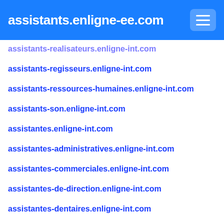assistants.enligne-ee.com
assistants-realisateurs.enligne-int.com
assistants-regisseurs.enligne-int.com
assistants-ressources-humaines.enligne-int.com
assistants-son.enligne-int.com
assistantes.enligne-int.com
assistantes-administratives.enligne-int.com
assistantes-commerciales.enligne-int.com
assistantes-de-direction.enligne-int.com
assistantes-dentaires.enligne-int.com
assistantes-de-production.enligne-int.com
assistantes-juridiques.enligne-int.com
assistantes-maternelles.enligne-int.com
assistantes-medicales.enligne-int.com